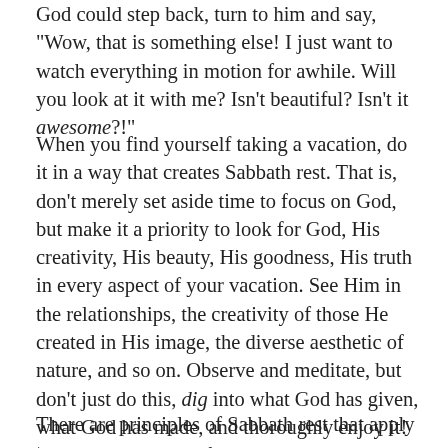God could step back, turn to him and say, "Wow, that is something else! I just want to watch everything in motion for awhile. Will you look at it with me? Isn't beautiful? Isn't it awesome?!"
When you find yourself taking a vacation, do it in a way that creates Sabbath rest. That is, don't merely set aside time to focus on God, but make it a priority to look for God, His creativity, His beauty, His goodness, His truth in every aspect of your vacation. See Him in the relationships, the creativity of those He created in His image, the diverse aesthetic of nature, and so on. Observe and meditate, but don't just do this, dig into what God has given, what God has made, and thoroughly enjoy it! And yes, thank God for it all. Thank God repeatedly!
There are principles of Sabbath rest that apply to a